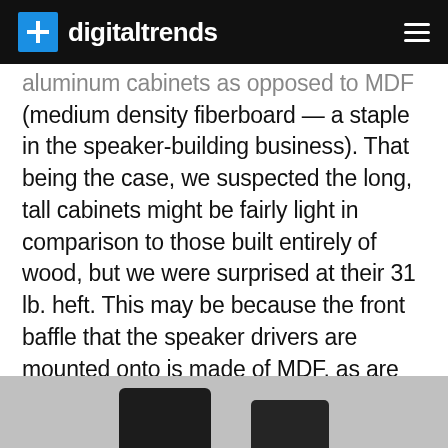digitaltrends
aluminum cabinets as opposed to MDF (medium density fiberboard — a staple in the speaker-building business). That being the case, we suspected the long, tall cabinets might be fairly light in comparison to those built entirely of wood, but we were surprised at their 31 lb. heft. This may be because the front baffle that the speaker drivers are mounted onto is made of MDF, as are the top and bottom “caps” that finish the speaker
[Figure (photo): Bottom portion of a photo showing two dark/black speaker cabinet bases against a light gray background]